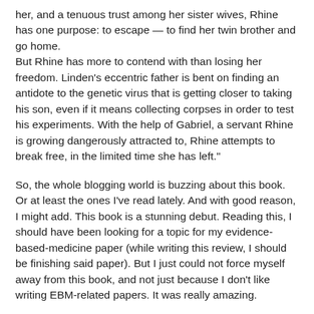her, and a tenuous trust among her sister wives, Rhine has one purpose: to escape — to find her twin brother and go home.
But Rhine has more to contend with than losing her freedom. Linden's eccentric father is bent on finding an antidote to the genetic virus that is getting closer to taking his son, even if it means collecting corpses in order to test his experiments. With the help of Gabriel, a servant Rhine is growing dangerously attracted to, Rhine attempts to break free, in the limited time she has left."
So, the whole blogging world is buzzing about this book. Or at least the ones I've read lately. And with good reason, I might add. This book is a stunning debut. Reading this, I should have been looking for a topic for my evidence-based-medicine paper (while writing this review, I should be finishing said paper). But I just could not force myself away from this book, and not just because I don't like writing EBM-related papers. It was really amazing.
The world DeStefano has created is horrifying. Though cancer is a thing of the past thanks to genetic manipulation,